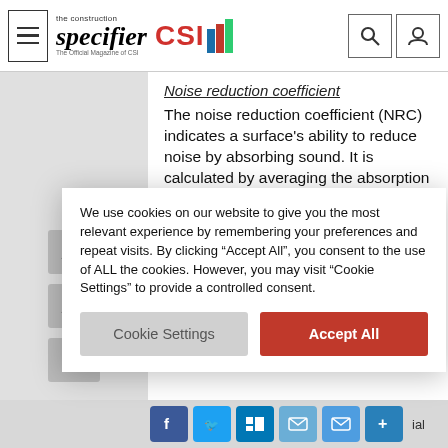the construction specifier | CSI
Noise reduction coefficient
The noise reduction coefficient (NRC) indicates a surface's ability to reduce noise by absorbing sound. It is calculated by averaging the absorption coefficients from the 250-Hz, 500-Hz, 1-kHz, and 2-kHz octave bands. It varies between 0.0 (i.e. absorbs very little sound) and 1.0 (i.e. absorbs a lot of sound). NRC is one of two important variables in determining reverberation time (the other being room volume). A
We use cookies on our website to give you the most relevant experience by remembering your preferences and repeat visits. By clicking “Accept All”, you consent to the use of ALL the cookies. However, you may visit “Cookie Settings” to provide a controlled consent.